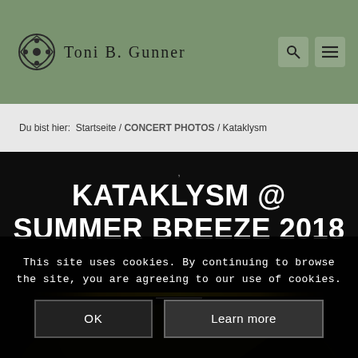[Figure (logo): Toni B. Gunner logo with Celtic knot icon and serif text]
Du bist hier:  Startseite  /  CONCERT PHOTOS  /  Kataklysm
KATAKLYSM @ SUMMER BREEZE 2018
[Figure (photo): Dark concert photo background with yellow/green light streak, performer partially visible at bottom]
This site uses cookies. By continuing to browse the site, you are agreeing to our use of cookies.
OK    Learn more